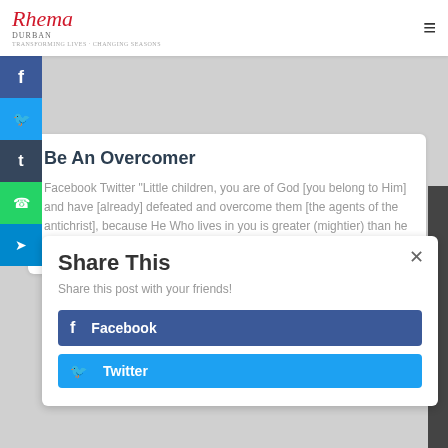Rhema Durban
Be An Overcomer
Facebook Twitter "Little children, you are of God [you belong to Him] and have [already] defeated and overcome them [the agents of the antichrist], because He Who lives in you is greater (mightier) than he Read more...
Share This
Share this post with your friends!
Facebook
Twitter